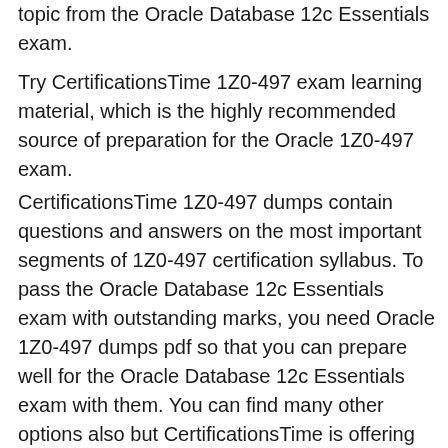topic from the Oracle Database 12c Essentials exam.
Try CertificationsTime 1Z0-497 exam learning material, which is the highly recommended source of preparation for the Oracle 1Z0-497 exam.
CertificationsTime 1Z0-497 dumps contain questions and answers on the most important segments of 1Z0-497 certification syllabus. To pass the Oracle Database 12c Essentials exam with outstanding marks, you need Oracle 1Z0-497 dumps pdf so that you can prepare well for the Oracle Database 12c Essentials exam with them. You can find many other options also but CertificationsTime is offering the valid 1Z0-497 dumps for the Oracle Database 12c Essentials exam. By using CertificationsTime 1Z0-497 dumps, you can prepare for